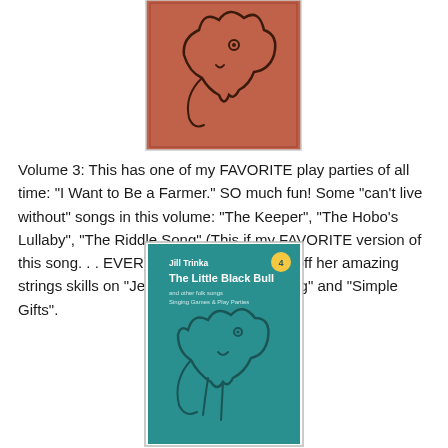[Figure (illustration): Book cover with terracotta/rust colored background showing a line drawing of a bull, partially visible at top of page]
Volume 3: This has one of my FAVORITE play parties of all time: "I Want to Be a Farmer."  SO much fun!  Some "can't live without" songs in this volume: "The Keeper", "The Hobo's Lullaby", "The Riddle Song" (This if my FAVORITE version of this song. . . EVER).  And then she shows off her amazing strings skills on "Jesu Joy of Man's Desiring" and "Simple Gifts".
[Figure (illustration): Book cover for 'The Little Black Bull' by Jill Trinka, volume 4, teal/turquoise background with line drawing of a bull]